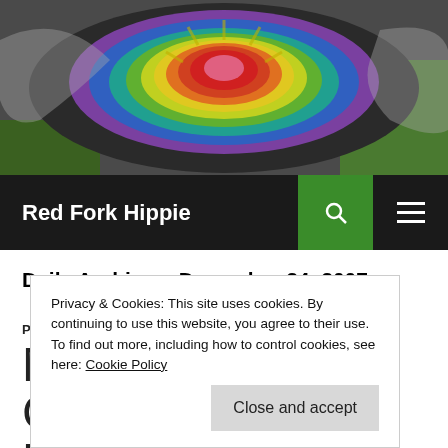[Figure (photo): Colorful tie-dye painted object (guitar or similar) with concentric rings of red, orange, yellow, green, blue, purple on a grassy background.]
Red Fork Hippie
Daily Archives: December 24, 2007
PROJECTS
MERRY CHRISTMAS TO ME
Privacy & Cookies: This site uses cookies. By continuing to use this website, you agree to their use. To find out more, including how to control cookies, see here: Cookie Policy
Close and accept